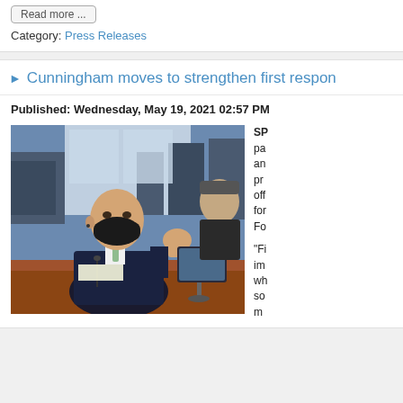Read more ...
Category: Press Releases
Cunningham moves to strengthen first respon...
Published: Wednesday, May 19, 2021 02:57 PM
[Figure (photo): A man in a dark suit and black face mask seated at a conference table, gesturing with his right hand raised in a fist, with a tablet on the table in front of him and another person visible in the background.]
SP... pa... an... pr... off... for... Fo... "Fi... im... wh... so... m...